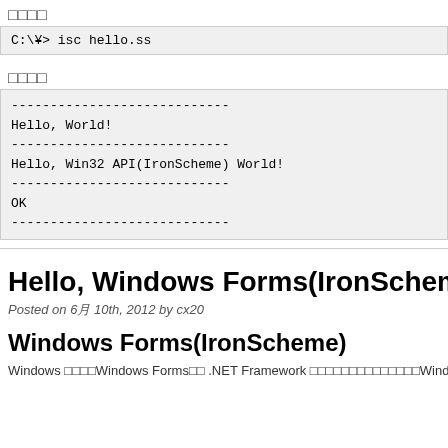□□□□
C:\¥> isc hello.ss
□□□□
----------------------------
Hello, World!
----------------------------
Hello, Win32 API(IronScheme) World!
----------------------------
OK
----------------------------
Hello, Windows Forms(IronScheme) Wor…
Posted on 6月 10th, 2012 by cx20
Windows Forms(IronScheme)
Windows □□□□Windows Forms□□ .NET Framework □□□□□□□□□□□□□□Windows □□